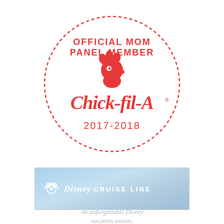[Figure (logo): Chick-fil-A Official Mom Panel Member 2017-2018 badge. A circular badge with a dotted red border. Inside: text 'OFFICIAL MOM PANEL MEMBER' in red capital letters at the top, the Chick-fil-A logo (red chicken head with script lettering) in the center, and '2017-2018' in red below.]
[Figure (logo): Disney Cruise Line banner/logo on a blue sky background. Shows the Disney Cruise Line ship wheel/Mickey icon and the text 'Disney Cruise Line' in white.]
An unforgettable Disney vacation awaits.